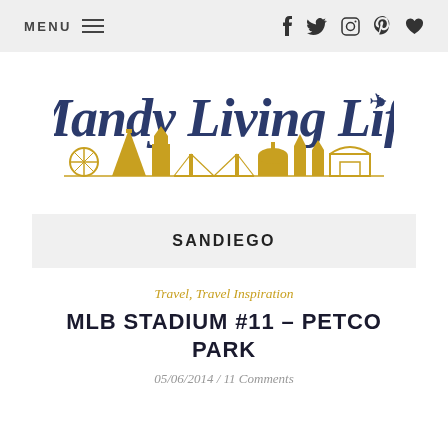MENU  f  Twitter  Instagram  Pinterest  Heart
[Figure (logo): Mandy Living Life logo with cursive dark navy text and gold city skyline silhouette including landmarks like Eiffel Tower, Big Ben, Colosseum, and others]
SANDIEGO
Travel, Travel Inspiration
MLB STADIUM #11 – PETCO PARK
05/06/2014 / 11 Comments